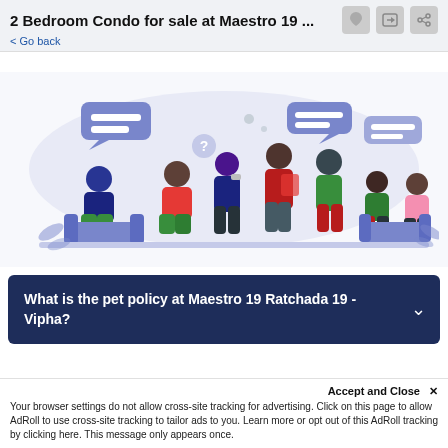2 Bedroom Condo for sale at Maestro 19 ... < Go back
[Figure (illustration): Flat vector illustration of a group of diverse people sitting and standing in a discussion or meeting scene, with speech bubbles above them, on a light blue/lavender background.]
What is the pet policy at Maestro 19 Ratchada 19 - Vipha?
Accept and Close ×
Your browser settings do not allow cross-site tracking for advertising. Click on this page to allow AdRoll to use cross-site tracking to tailor ads to you. Learn more or opt out of this AdRoll tracking by clicking here. This message only appears once.